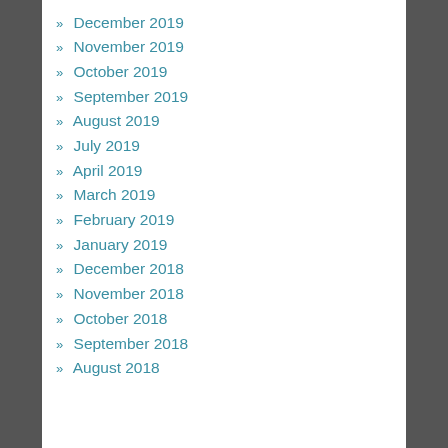» December 2019
» November 2019
» October 2019
» September 2019
» August 2019
» July 2019
» April 2019
» March 2019
» February 2019
» January 2019
» December 2018
» November 2018
» October 2018
» September 2018
» August 2018